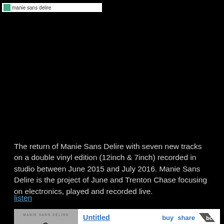[Figure (screenshot): Browser address/navigation bar with green icon and URL bar on black background]
The return of Manie Sans Delire with seven new tracks on a double vinyl edition (12inch & 7inch) recorded in studio between June 2015 and July 2016. Manie Sans Delire is the project of June and Trenton Chase focusing on electronics, played and recorded live.
listen
[Figure (screenshot): Bandcamp music player widget showing album art for Manie Sans Délire with Untitled album, buy/share options, and track listing starting with MSD (Version Dure)]